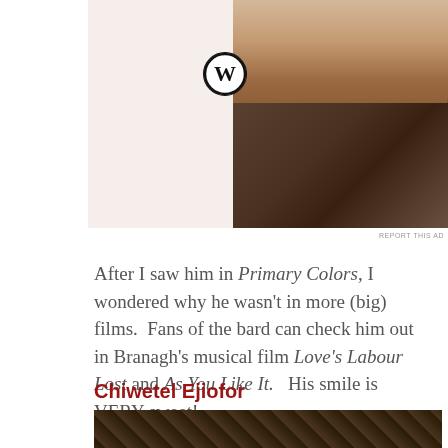[Figure (photo): Advertisement banner showing a WordPress logo on beige background with a photo of hands typing on a laptop]
REPORT THIS AD
After I saw him in Primary Colors, I wondered why he wasn't in more (big) films.  Fans of the bard can check him out in Branagh's musical film Love's Labour Lost and As You Like It.   His smile is VERY sweet!
Chiwetel Ejiofor
[Figure (photo): Photo of Chiwetel Ejiofor against a dark patterned wooden background]